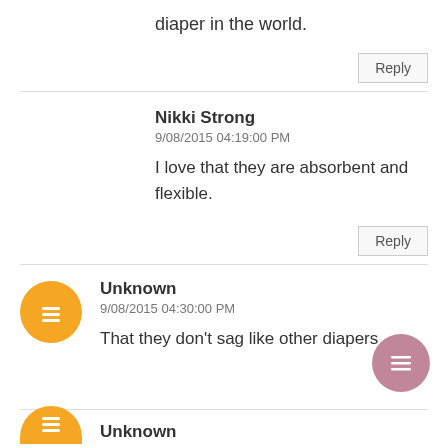diaper in the world.
Reply
Nikki Strong
9/08/2015 04:19:00 PM
I love that they are absorbent and flexible.
Reply
Unknown
9/08/2015 04:30:00 PM
That they don't sag like other diapers
Unknown